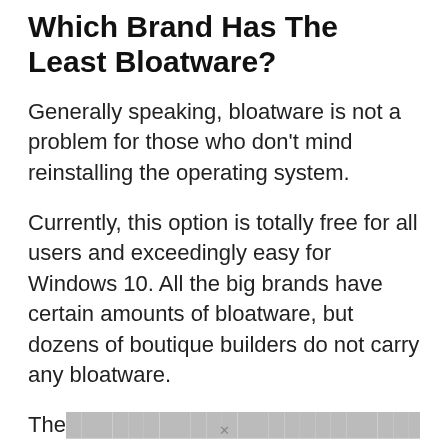Which Brand Has The Least Bloatware?
Generally speaking, bloatware is not a problem for those who don't mind reinstalling the operating system.
Currently, this option is totally free for all users and exceedingly easy for Windows 10. All the big brands have certain amounts of bloatware, but dozens of boutique builders do not carry any bloatware.
The... [truncated]